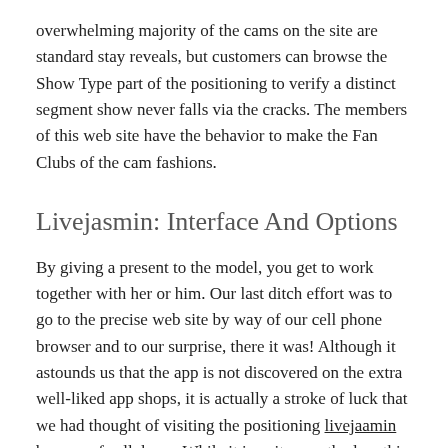overwhelming majority of the cams on the site are standard stay reveals, but customers can browse the Show Type part of the positioning to verify a distinct segment show never falls via the cracks. The members of this web site have the behavior to make the Fan Clubs of the cam fashions.
Livejasmin: Interface And Options
By giving a present to the model, you get to work together with her or him. Our last ditch effort was to go to the precise web site by way of our cell phone browser and to our surprise, there it was! Although it astounds us that the app is not discovered on the extra well-liked app shops, it is actually a stroke of luck that we had thought of visiting the positioning livejaamin by way of cellphone. While it is quite unorthodox, this evaluation may help in